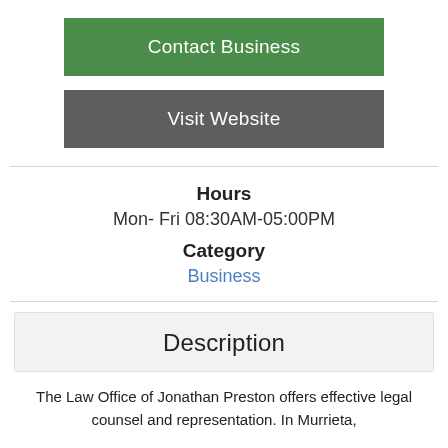Contact Business
Visit Website
Hours
Mon- Fri 08:30AM-05:00PM
Category
Business
Description
The Law Office of Jonathan Preston offers effective legal counsel and representation. In Murrieta,